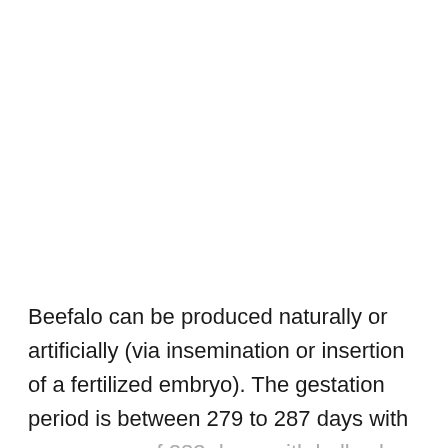Beefalo can be produced naturally or artificially (via insemination or insertion of a fertilized embryo). The gestation period is between 279 to 287 days with an average of 283 days, with bull calves having gestation periods that are a little longer than heifer